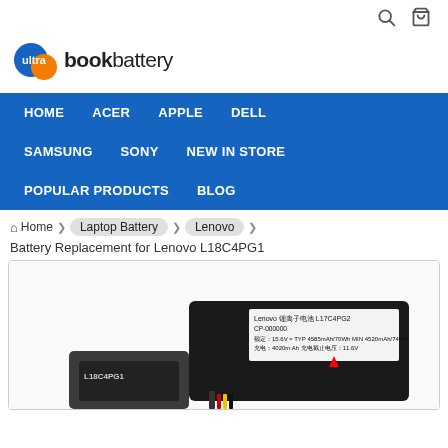[Figure (logo): UltrabookBattery logo with two overlapping circles (blue and orange) and text 'ultrabookbattery']
HOME  ACER  APPLE  DELL  SAMSUNG  SONY  NEW IN STORE  POPULAR PRODUCTS  BLOG
Home / Laptop Battery / Lenovo / Battery Replacement for Lenovo L18C4PG1
[Figure (photo): Photo of a Lenovo laptop battery (L18C4PG1) showing the battery label with a red arrow pointing to it, wires visible at the bottom]